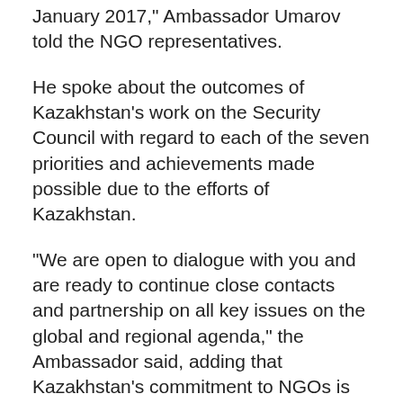January 2017," Ambassador Umarov told the NGO representatives.
He spoke about the outcomes of Kazakhstan's work on the Security Council with regard to each of the seven priorities and achievements made possible due to the efforts of Kazakhstan.
"We are open to dialogue with you and are ready to continue close contacts and partnership on all key issues on the global and regional agenda," the Ambassador said, adding that Kazakhstan's commitment to NGOs is steadfast into the future now and beyond.
Since the Security Council's decisions affect nearly all NGO constituencies – including human rights, humanitarian relief, disarmament, governance, and the concerns of women and children – the Working Group maintains a diverse membership.
Due in part to the diversity of its membership, the NGO